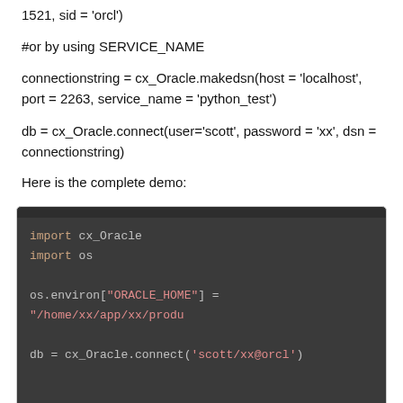1521, sid = 'orcl')
#or by using SERVICE_NAME
connectionstring = cx_Oracle.makedsn(host = 'localhost', port = 2263, service_name = 'python_test')
db = cx_Oracle.connect(user='scott', password = 'xx', dsn = connectionstring)
Here is the complete demo:
[Figure (screenshot): Code block showing Python script: import cx_Oracle, import os, os.environ["ORACLE_HOME"] = "/home/xx/app/xx/produ...", db = cx_Oracle.connect('scott/xx@orcl'), cursor = db.cursor(), try:, cursor.execute('SELECT * FROM emp'), for row in cursor:]